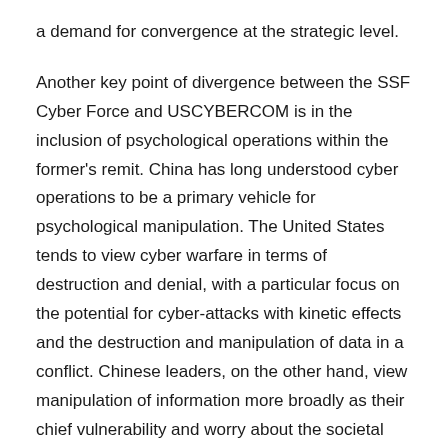a demand for convergence at the strategic level.
Another key point of divergence between the SSF Cyber Force and USCYBERCOM is in the inclusion of psychological operations within the former's remit. China has long understood cyber operations to be a primary vehicle for psychological manipulation. The United States tends to view cyber warfare in terms of destruction and denial, with a particular focus on the potential for cyber-attacks with kinetic effects and the destruction and manipulation of data in a conflict. Chinese leaders, on the other hand, view manipulation of information more broadly as their chief vulnerability and worry about the societal effects.
SSF Challenges Ahead